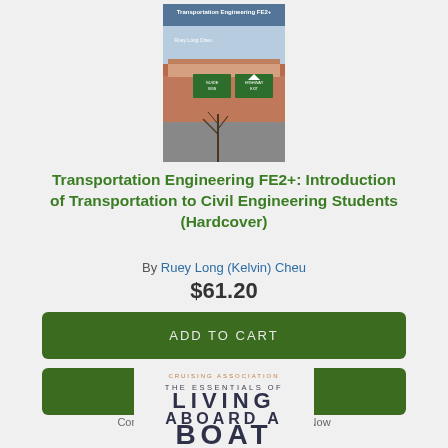[Figure (photo): Book cover of Transportation Engineering FE2+ showing a highway interchange with green directional signs and a modern building]
Transportation Engineering FE2+: Introduction of Transportation to Civil Engineering Students (Hardcover)
By Ruey Long (Kelvin) Cheu
$61.20
ADD TO CART
ADD TO WISH LIST
Coming Soon - Available for Pre-Order Now
[Figure (photo): Partial book cover showing 'THE ESSENTIALS OF LIVING ABOARD A BOAT' text design at the bottom of the page]